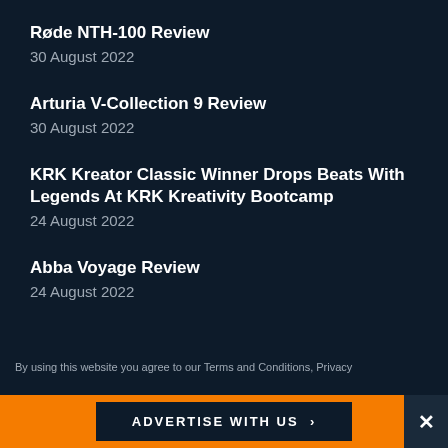Røde NTH-100 Review
30 August 2022
Arturia V-Collection 9 Review
30 August 2022
KRK Kreator Classic Winner Drops Beats With Legends At KRK Kreativity Bootcamp
24 August 2022
Abba Voyage Review
24 August 2022
By using this website you agree to our Terms and Conditions, Privacy and Cookie Policy.
New Roland Showroom Opens In Iconic Central
ADVERTISE WITH US >